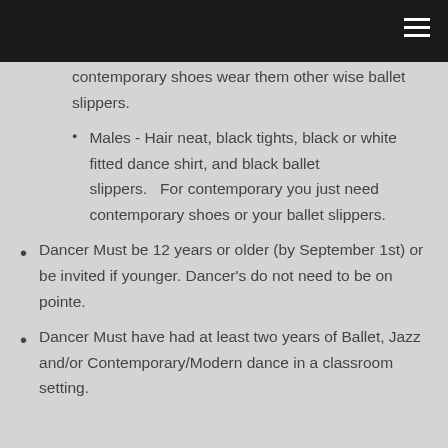contemporary shoes wear them other wise ballet slippers.
Males - Hair neat, black tights, black or white fitted dance shirt, and black ballet slippers.   For contemporary you just need contemporary shoes or your ballet slippers.
Dancer Must be 12 years or older (by September 1st) or be invited if younger. Dancer's do not need to be on pointe.
Dancer Must have had at least two years of Ballet, Jazz and/or Contemporary/Modern dance in a classroom setting.